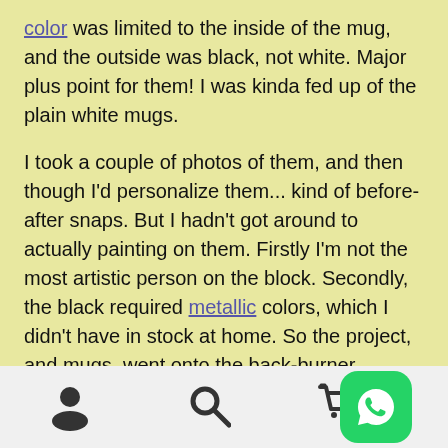color was limited to the inside of the mug, and the outside was black, not white. Major plus point for them! I was kinda fed up of the plain white mugs.
I took a couple of photos of them, and then though I'd personalize them... kind of before-after snaps. But I hadn't got around to actually painting on them. Firstly I'm not the most artistic person on the block. Secondly, the black required metallic colors, which I didn't have in stock at home. So the project, and mugs, went onto the back-burner.
Recently, on a shopping trip, I finally got myself some metallic colors. Now the design was pending. This time, I wasn't spending time on trying to paint. Also metallic
[Figure (other): Bottom navigation bar with user icon, search icon, and WhatsApp floating icon]